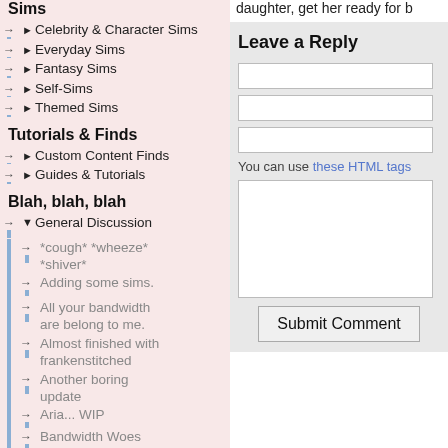Sims
Celebrity & Character Sims
Everyday Sims
Fantasy Sims
Self-Sims
Themed Sims
Tutorials & Finds
Custom Content Finds
Guides & Tutorials
Blah, blah, blah
General Discussion
*cough* *wheeze* *shiver*
Adding some sims.
All your bandwidth are belong to me.
Almost finished with frankenstitched
Another boring update
Aria... WIP
Bandwidth Woes
Blah blah blah
daughter, get her ready for b
Leave a Reply
You can use these HTML tags
Submit Comment